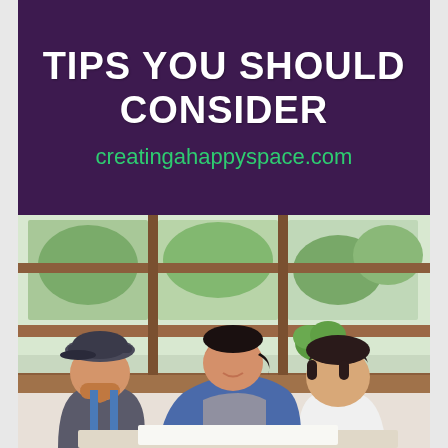TIPS YOU SHOULD CONSIDER
creatingahappyspace.com
[Figure (photo): Three people gathered together looking at something — a man with a beard and flat cap, a woman leaning over from behind, and another woman with short dark hair, in a bright room with large windows and wooden shelves, with green plants visible outside.]